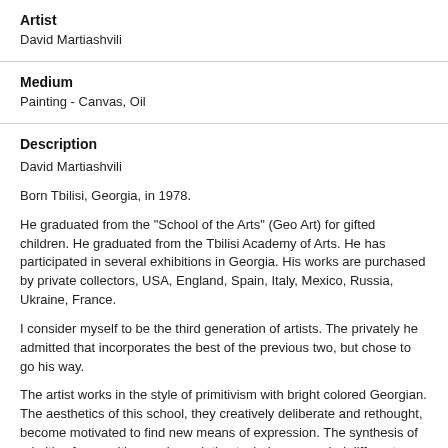Artist
David Martiashvili
Medium
Painting - Canvas, Oil
Description
David Martiashvili
Born Tbilisi, Georgia, in 1978.
He graduated from the "School of the Arts" (Geo Art) for gifted children. He graduated from the Tbilisi Academy of Arts. He has participated in several exhibitions in Georgia. His works are purchased by private collectors, USA, England, Spain, Italy, Mexico, Russia, Ukraine, France.
I consider myself to be the third generation of artists. The privately he admitted that incorporates the best of the previous two, but chose to go his way.
The artist works in the style of primitivism with bright colored Georgian. The aesthetics of this school, they creatively deliberate and rethought, become motivated to find new means of expression. The synthesis of primitive forms with complex painting technique revealed different quality of impact. The aesthetic credo of the artist - painting, which would have the effect of jewels - failed fully. The rich palette of special writing technique, (passed over from my father and rich talent of his son) - this is the road to the result. To the fullest extent we can see this in his latest works, where there is